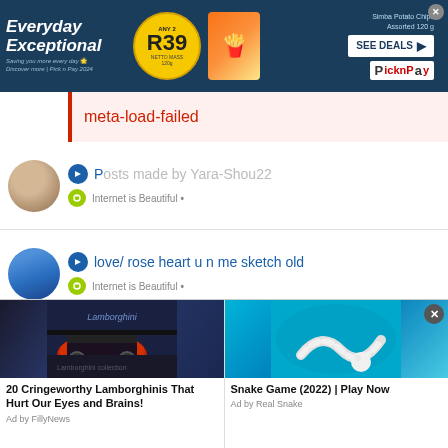[Figure (screenshot): Pick n Pay advertisement banner - Everyday Exceptional, Any 2 R39, Simba Potato Chips Assorted 120g, SEE DEALS button, Pick n Pay logo]
meta-load-failed
Posts made by Yara-Shou22
Internet is Beautiful •
love/ rose heart u n me sketch old
Internet is Beautiful •
Any recomended songs?
Songs & Music (SoundCloud, NetFlix, Youtube & Whatever) •
[Figure (screenshot): Bottom advertisement strip with two ads: '20 Cringeworthy Lamborghinis That Hurt Our Eyes and Brains!' by FillyNews, and 'Snake Game (2022) | Play Now' by Real Snake]